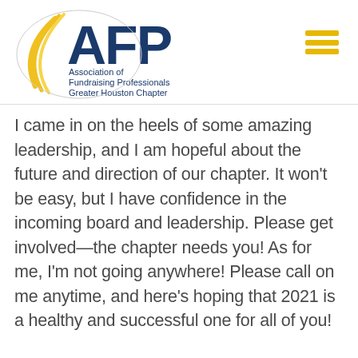[Figure (logo): AFP – Association of Fundraising Professionals Greater Houston Chapter logo with yellow arc swoosh and dark blue AFP text]
I came in on the heels of some amazing leadership, and I am hopeful about the future and direction of our chapter. It won't be easy, but I have confidence in the incoming board and leadership. Please get involved—the chapter needs you! As for me, I'm not going anywhere! Please call on me anytime, and here's hoping that 2021 is a healthy and successful one for all of you!